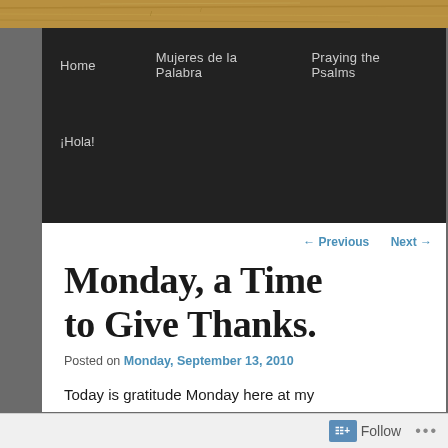[Figure (photo): Wooden texture banner image strip at top of page]
Home    Mujeres de la Palabra    Praying the Psalms    ¡Hola!
← Previous    Next →
Monday, a Time to Give Thanks.
Posted on Monday, September 13, 2010
Today is gratitude Monday here at my
Follow  •••